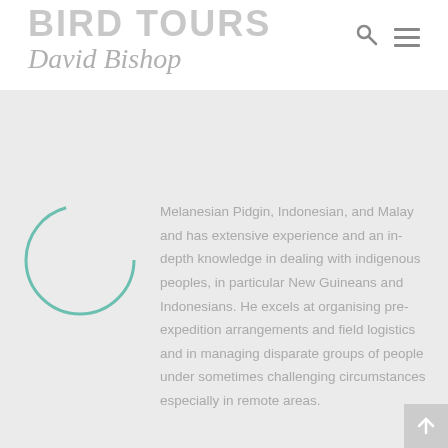BIRD TOURS David Bishop
Melanesian Pidgin, Indonesian, and Malay and has extensive experience and an in-depth knowledge in dealing with indigenous peoples, in particular New Guineans and Indonesians. He excels at organising pre-expedition arrangements and field logistics and in managing disparate groups of people under sometimes challenging circumstances especially in remote areas.
[Figure (illustration): Partial circular portrait/avatar outline in teal/green color, bottom portion visible]
[Figure (logo): Scroll to top button with upward arrow icon on grey background in bottom right corner]